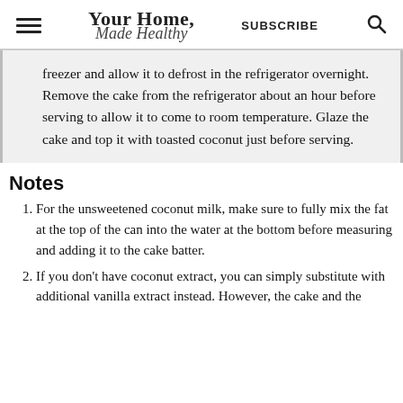Your Home, Made Healthy | SUBSCRIBE
freezer and allow it to defrost in the refrigerator overnight. Remove the cake from the refrigerator about an hour before serving to allow it to come to room temperature. Glaze the cake and top it with toasted coconut just before serving.
Notes
For the unsweetened coconut milk, make sure to fully mix the fat at the top of the can into the water at the bottom before measuring and adding it to the cake batter.
If you don't have coconut extract, you can simply substitute with additional vanilla extract instead. However, the cake and the